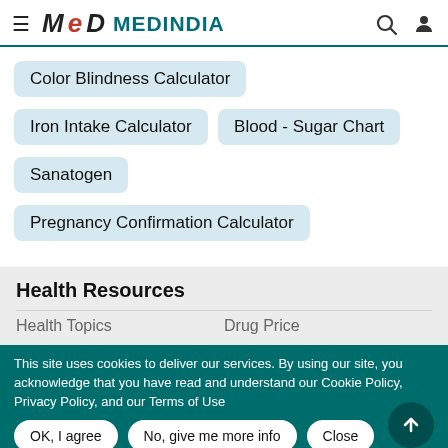≡ MeD MEDINDIA
Color Blindness Calculator
Iron Intake Calculator
Blood - Sugar Chart
Sanatogen
Pregnancy Confirmation Calculator
Health Resources
Health Topics
Drug Price
This site uses cookies to deliver our services. By using our site, you acknowledge that you have read and understand our Cookie Policy, Privacy Policy, and our Terms of Use
OK, I agree
No, give me more info
Close